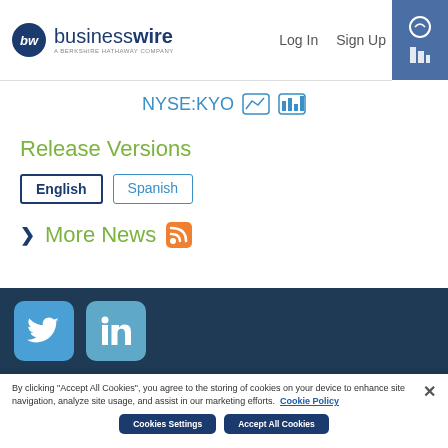businesswire — A Berkshire Hathaway Company | Log In | Sign Up
NYSE:KYO
Release Versions
English  Spanish
More News
[Figure (logo): Twitter and LinkedIn social media icons on dark navy background]
By clicking "Accept All Cookies", you agree to the storing of cookies on your device to enhance site navigation, analyze site usage, and assist in our marketing efforts. Cookie Policy
Cookies Settings   Accept All Cookies